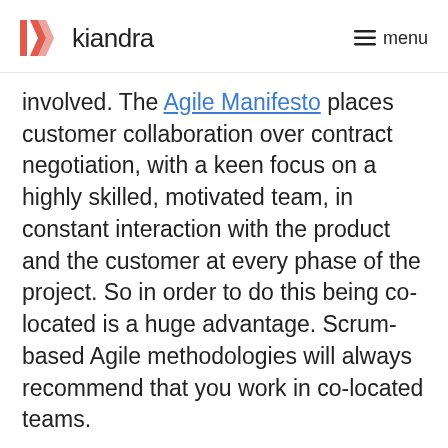kiandra | menu
involved. The Agile Manifesto places customer collaboration over contract negotiation, with a keen focus on a highly skilled, motivated team, in constant interaction with the product and the customer at every phase of the project. So in order to do this being co-located is a huge advantage. Scrum-based Agile methodologies will always recommend that you work in co-located teams.
Therefore, an important part of your shopping list should be to find a company that can